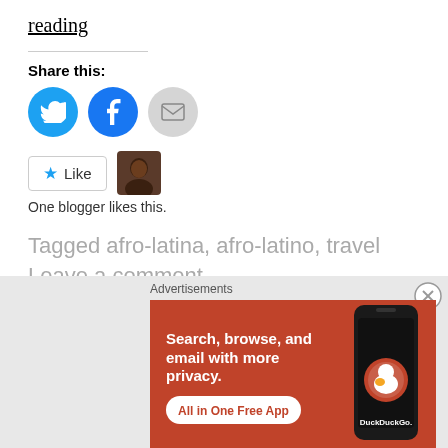reading
Share this:
[Figure (infographic): Share buttons: Twitter (blue circle with bird icon), Facebook (blue circle with f icon), Email (grey circle with envelope icon)]
[Figure (infographic): Like button with star icon and blogger avatar photo]
One blogger likes this.
Tagged afro-latina, afro-latino, travel
Leave a comment
Advertisements
[Figure (infographic): DuckDuckGo advertisement banner: orange/red background with white bold text 'Search, browse, and email with more privacy.' and 'All in One Free App' button, with a smartphone image on the right showing the DuckDuckGo logo and wordmark.]